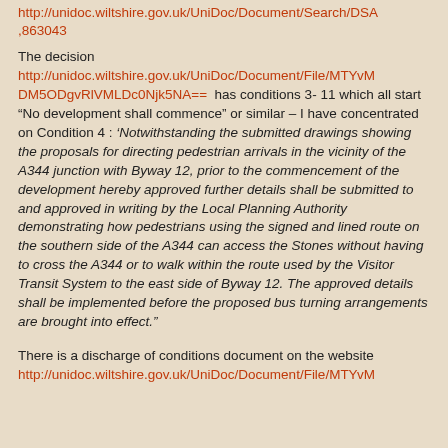http://unidoc.wiltshire.gov.uk/UniDoc/Document/Search/DSA,863043
The decision http://unidoc.wiltshire.gov.uk/UniDoc/Document/File/MTYvMDM5ODgvRlVMLDc0Njk5NA== has conditions 3- 11 which all start “No development shall commence” or similar – I have concentrated on Condition 4 : ‘Notwithstanding the submitted drawings showing the proposals for directing pedestrian arrivals in the vicinity of the A344 junction with Byway 12, prior to the commencement of the development hereby approved further details shall be submitted to and approved in writing by the Local Planning Authority demonstrating how pedestrians using the signed and lined route on the southern side of the A344 can access the Stones without having to cross the A344 or to walk within the route used by the Visitor Transit System to the east side of Byway 12. The approved details shall be implemented before the proposed bus turning arrangements are brought into effect.”
There is a discharge of conditions document on the website http://unidoc.wiltshire.gov.uk/UniDoc/Document/File/MTYvM...